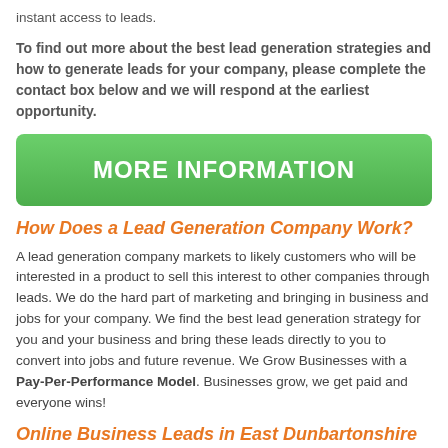instant access to leads.
To find out more about the best lead generation strategies and how to generate leads for your company, please complete the contact box below and we will respond at the earliest opportunity.
[Figure (other): Green button with white bold text reading MORE INFORMATION]
How Does a Lead Generation Company Work?
A lead generation company markets to likely customers who will be interested in a product to sell this interest to other companies through leads. We do the hard part of marketing and bringing in business and jobs for your company. We find the best lead generation strategy for you and your business and bring these leads directly to you to convert into jobs and future revenue. We Grow Businesses with a Pay-Per-Performance Model. Businesses grow, we get paid and everyone wins!
Online Business Leads in East Dunbartonshire